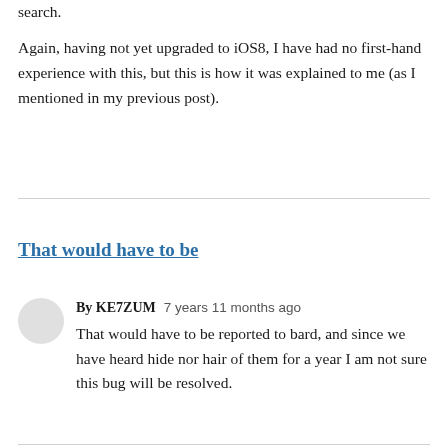search.
Again, having not yet upgraded to iOS8, I have had no first-hand experience with this, but this is how it was explained to me (as I mentioned in my previous post).
That would have to be
By KE7ZUM   7 years 11 months ago
That would have to be reported to bard, and since we have heard hide nor hair of them for a year I am not sure this bug will be resolved.